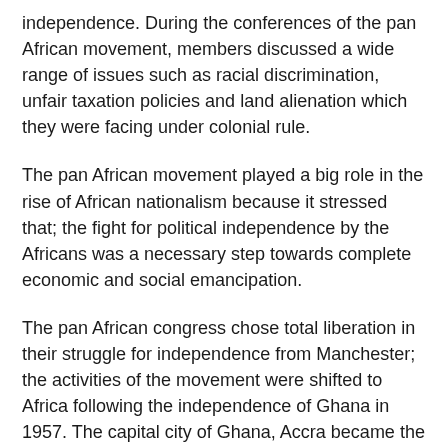independence. During the conferences of the pan African movement, members discussed a wide range of issues such as racial discrimination, unfair taxation policies and land alienation which they were facing under colonial rule.
The pan African movement played a big role in the rise of African nationalism because it stressed that; the fight for political independence by the Africans was a necessary step towards complete economic and social emancipation.
The pan African congress chose total liberation in their struggle for independence from Manchester; the activities of the movement were shifted to Africa following the independence of Ghana in 1957. The capital city of Ghana, Accra became the head quarters of pan Africanism where Kwame Nkrumah spear headed the independence of many African countries.
The movement represented the African continent in the international